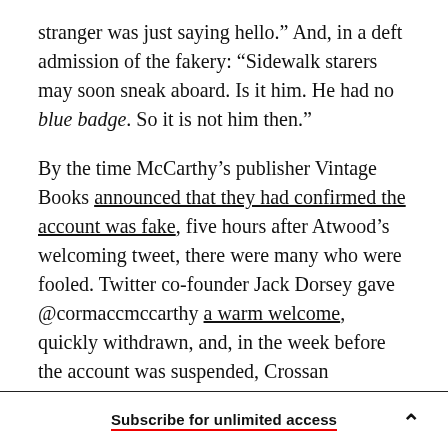stranger was just saying hello." And, in a deft admission of the fakery: "Sidewalk starers may soon sneak aboard. Is it him. He had no blue badge. So it is not him then."
By the time McCarthy's publisher Vintage Books announced that they had confirmed the account was fake, five hours after Atwood's welcoming tweet, there were many who were fooled. Twitter co-founder Jack Dorsey gave @cormaccmccarthy a warm welcome, quickly withdrawn, and, in the week before the account was suspended, Crossan accumulated more than 6,000 followers. Once
Subscribe for unlimited access